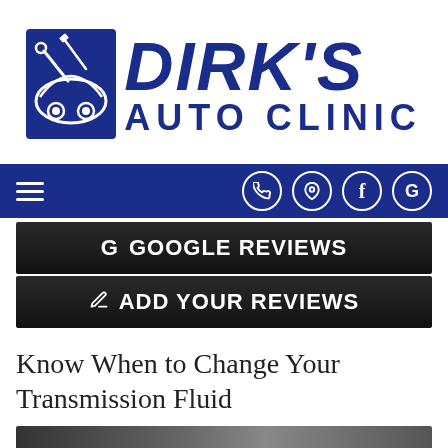[Figure (logo): Dirk's Auto Clinic logo with car and tools icon on the left, bold dark blue text 'DIRK'S' on top and 'AUTO CLINIC' below]
[Figure (screenshot): Dark blue navigation bar with hamburger menu on left and four circular icon buttons (phone, location pin, Facebook f, Google G) on the right]
[Figure (screenshot): Black button with Google G icon and text 'GOOGLE REVIEWS']
[Figure (screenshot): Black button with pencil icon and text 'ADD YOUR REVIEWS']
Know When to Change Your Transmission Fluid
[Figure (photo): Partial bottom strip showing a dark photo, likely of a car or mechanic]